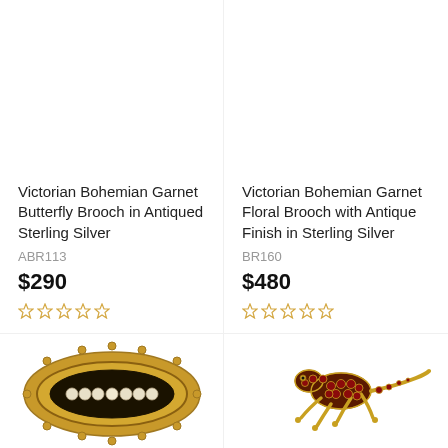Victorian Bohemian Garnet Butterfly Brooch in Antiqued Sterling Silver
ABR113
$290
Victorian Bohemian Garnet Floral Brooch with Antique Finish in Sterling Silver
BR160
$480
[Figure (photo): Gold oval brooch with pearls and beaded border]
[Figure (photo): Garnet lizard/gecko brooch in gold setting with red stones]